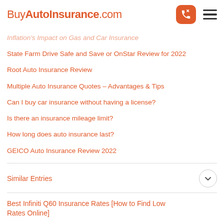BuyAutoInsurance.com
Inflation's Impact on Gas and Car Insurance
State Farm Drive Safe and Save or OnStar Review for 2022
Root Auto Insurance Review
Multiple Auto Insurance Quotes – Advantages & Tips
Can I buy car insurance without having a license?
Is there an insurance mileage limit?
How long does auto insurance last?
GEICO Auto Insurance Review 2022
Similar Entries
Best Infiniti Q60 Insurance Rates [How to Find Low Rates Online]